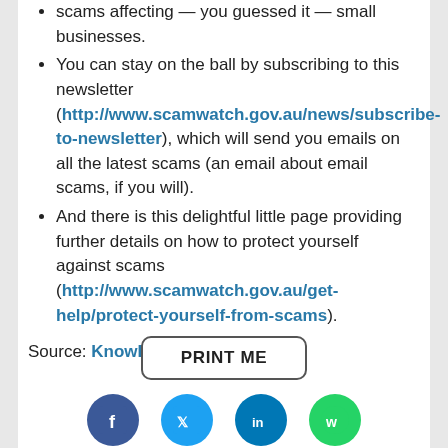scams affecting — you guessed it — small businesses.
You can stay on the ball by subscribing to this newsletter (http://www.scamwatch.gov.au/news/subscribe-to-newsletter), which will send you emails on all the latest scams (an email about email scams, if you will).
And there is this delightful little page providing further details on how to protect yourself against scams (http://www.scamwatch.gov.au/get-help/protect-yourself-from-scams).
Source: KnowRisk
[Figure (other): PRINT ME button with rounded rectangle border]
[Figure (other): Row of social media share icons: Facebook, Twitter, LinkedIn, WhatsApp]